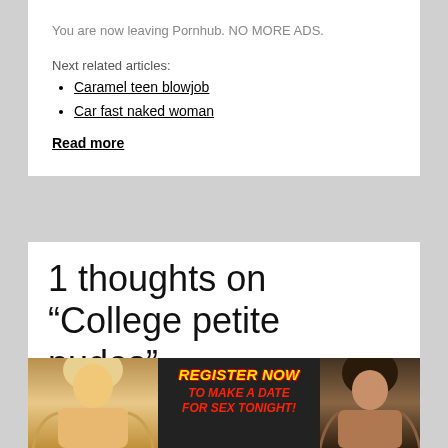You are now leaving Pornhub. NO MORE ADS.
Next related articles:
Caramel teen blowjob
Car fast naked woman
Read more
1 thoughts on “College petite nudes”
[Figure (photo): Advertisement banner with two women and text REGISTER NOW TO MAKE A DATE FOR SEX TONIGHT!]